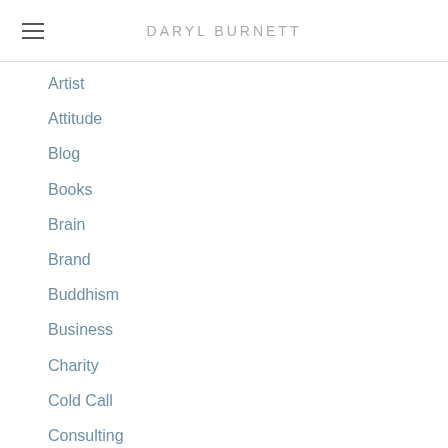DARYL BURNETT
Artist
Attitude
Blog
Books
Brain
Brand
Buddhism
Business
Charity
Cold Call
Consulting
Contest
Copywriting
Creativity
Customers
Debt
Discipline
Educations
Entrepreneurs
Entropeneurs